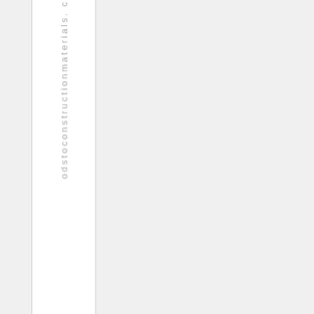o d s t o c o n s t r u c t i o n m a t e r i a l s . c